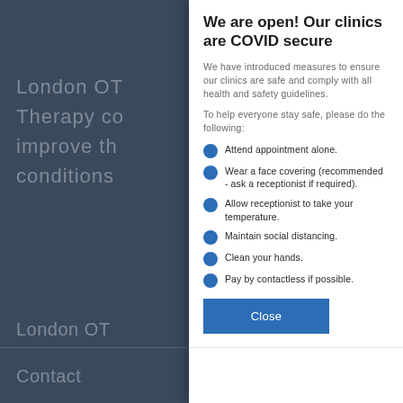London OT
Therapy co improve th conditions
We are open! Our clinics are COVID secure
We have introduced measures to ensure our clinics are safe and comply with all health and safety guidelines.
To help everyone stay safe, please do the following:
Attend appointment alone.
Wear a face covering (recommended - ask a receptionist if required).
Allow receptionist to take your temperature.
Maintain social distancing.
Clean your hands.
Pay by contactless if possible.
Close
London OT
Contact